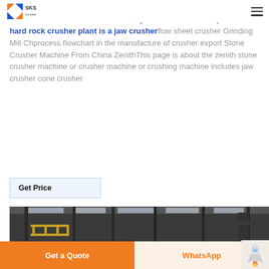SKS crusher export
sheets for jaw crusher kitawathinginflow sheets for jaw sheet crusher visaaustraliaasia Process Flow Diagram Coal Crusher System This hard rock crusher plant is a jaw crusherflow sheet crusher Grinding Mill Chprocess flowchart in the manufacture of crusher export Stone Crusher Machine From China ZenithThis page is about the zenith stone crusher machine or crusher machine or crushing machine includes jaw crusher cone crusher
Get Price
[Figure (photo): Interior of an industrial building or factory with steel beams, roof structure, and yellow scaffolding/railing visible.]
Get a Quote
WhatsApp